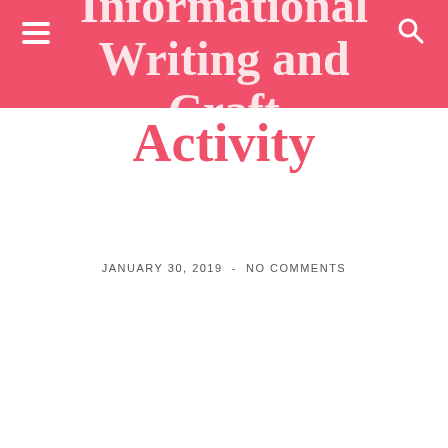Informational Writing and Craft Activity
Activity
JANUARY 30, 2019  -  NO COMMENTS
[Figure (illustration): Product cover image showing 'Penguins Informational Writing' with a black header bar containing the title and a search/magnify icon, and below it a photo of two King penguins against a gray background]